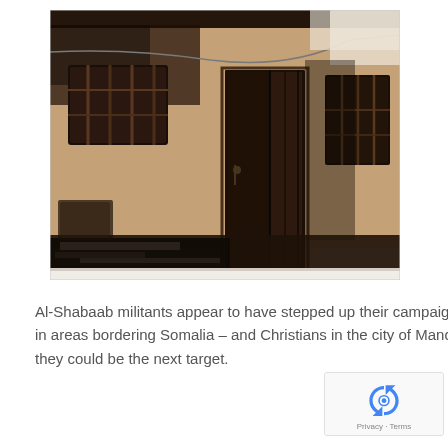[Figure (photo): Photograph of a fire-damaged building exterior. The mud/clay brick wall shows heavy black scorch marks around two barred windows and a metal door. The door is open, revealing burned interior. Charred debris and ash are visible on the ground in front of the building. A wire runs across the upper portion of the image.]
Al-Shabaab militants appear to have stepped up their campaign of violence in areas bordering Somalia – and Christians in the city of Mandera believe they could be the next target.